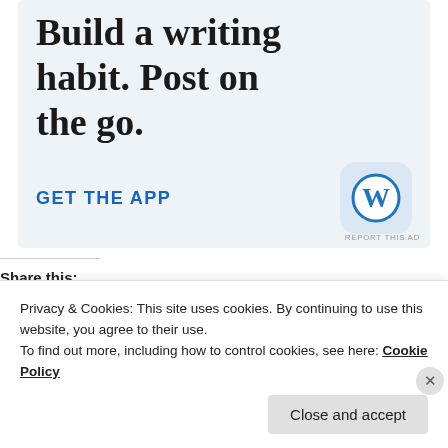[Figure (infographic): WordPress app advertisement banner with light blue background. Large serif text reads 'Build a writing habit. Post on the go.' A blue 'GET THE APP' link and WordPress app icon (blue W on rounded square) are shown.]
REPORT THIS AD
Share this:
[Figure (infographic): Two share buttons: Twitter (bird icon) and Facebook (f icon)]
Privacy & Cookies: This site uses cookies. By continuing to use this website, you agree to their use.
To find out more, including how to control cookies, see here: Cookie Policy
Close and accept